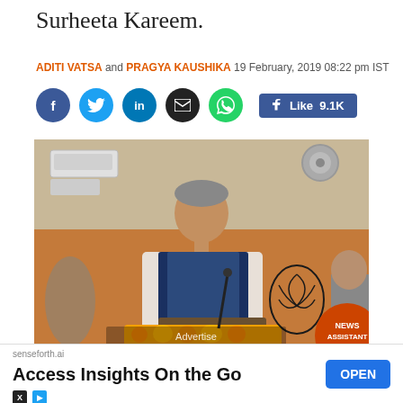Surheeta Kareem.
ADITI VATSA and PRAGYA KAUSHIKA 19 February, 2019 08:22 pm IST
[Figure (photo): A politician speaking at a podium decorated with marigold flowers, with a BJP lotus symbol visible in the background. NEWS ASSISTANT badge in lower right.]
BJP nati...
senseforth.ai
Access Insights On the Go